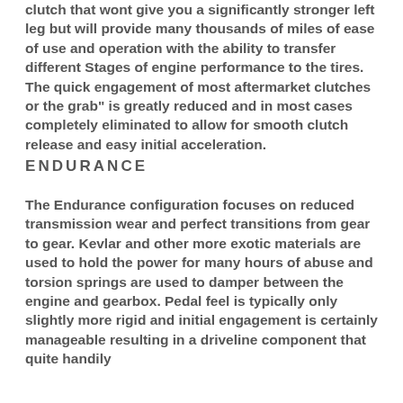clutch that wont give you a significantly stronger left leg but will provide many thousands of miles of ease of use and operation with the ability to transfer different Stages of engine performance to the tires. The quick engagement of most aftermarket clutches or the grab" is greatly reduced and in most cases completely eliminated to allow for smooth clutch release and easy initial acceleration.
ENDURANCE
The Endurance configuration focuses on reduced transmission wear and perfect transitions from gear to gear. Kevlar and other more exotic materials are used to hold the power for many hours of abuse and torsion springs are used to damper between the engine and gearbox. Pedal feel is typically only slightly more rigid and initial engagement is certainly manageable resulting in a driveline component that quite handily